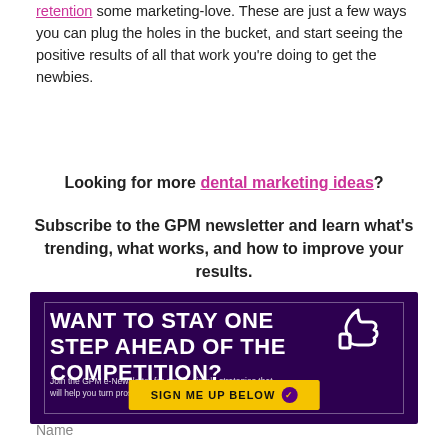retention some marketing-love. These are just a few ways you can plug the holes in the bucket, and start seeing the positive results of all that work you're doing to get the newbies.
Looking for more dental marketing ideas?
Subscribe to the GPM newsletter and learn what's trending, what works, and how to improve your results.
[Figure (infographic): Purple banner ad: 'WANT TO STAY ONE STEP AHEAD OF THE COMPETITION?' with thumbs up icon, subtitle 'Join the GPM e-Newsletter for smart, simple strategies that will help you turn prospects into patients.' and yellow button 'SIGN ME UP BELOW']
Name